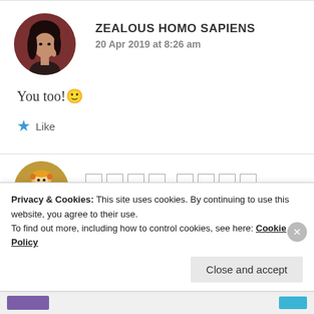ZEALOUS HOMO SAPIENS
20 Apr 2019 at 8:26 am
You too! 🙂
★ Like
[Figure (screenshot): Partially visible second comment with circular avatar and redacted username shown as empty boxes]
Privacy & Cookies: This site uses cookies. By continuing to use this website, you agree to their use.
To find out more, including how to control cookies, see here: Cookie Policy
Close and accept